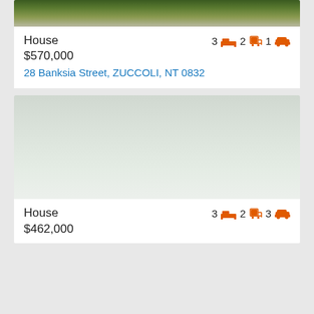[Figure (photo): Partial photo of a house with green lawn, top portion visible]
House
3 bed 2 bath 1 car
$570,000
28 Banksia Street, ZUCCOLI, NT 0832
[Figure (photo): Property photo placeholder, mostly white/light background]
House
3 bed 2 bath 3 car
$462,000